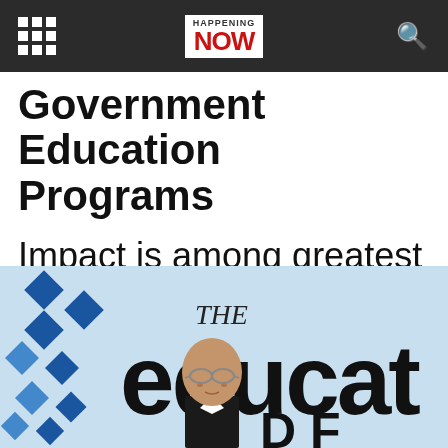HAPPENING NOW
Government Education Programs
Impact is among greatest of any rigorously studied education program in Africa
[Figure (photo): A bald man wearing glasses and a dark suit standing in front of a blue and white 'The Education' banner/backdrop]